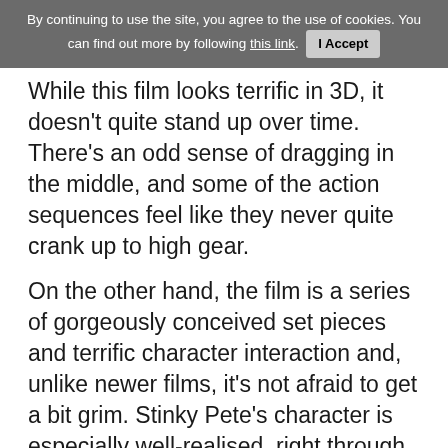By continuing to use the site, you agree to the use of cookies. You can find out more by following this link. I Accept
While this film looks terrific in 3D, it doesn't quite stand up over time.
There's an odd sense of dragging in the middle, and some of the action sequences feel like they never quite crank up to high gear.
On the other hand, the film is a series of gorgeously conceived set pieces and terrific character interaction and, unlike newer films, it's not afraid to get a bit grim. Stinky Pete's character is especially well-realised, right through to the anarchic closing-credit outtakes. As with most good sequels, the secret is to create strong new characters, and Stinky Pete certainly does that. It's also great to have Barbie in this world.
Continue reading: Toy Story 2 [in 3D] Review